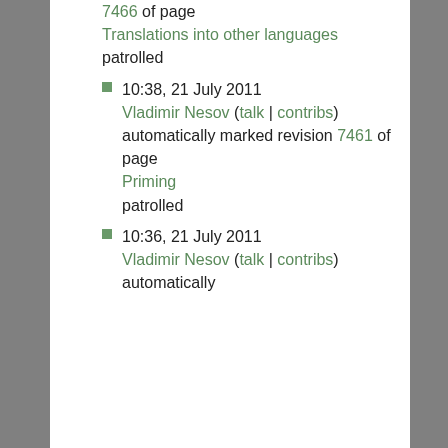7466 of page Translations into other languages patrolled
10:38, 21 July 2011 Vladimir Nesov (talk | contribs) automatically marked revision 7461 of page Priming patrolled
10:36, 21 July 2011 Vladimir Nesov (talk | contribs) automatically